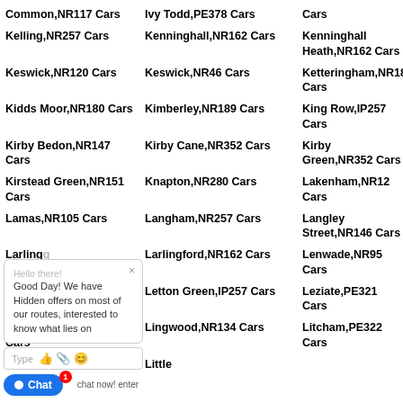Common,NR117 Cars
Ivy Todd,PE378 Cars
Cars
Kelling,NR257 Cars
Kenninghall,NR162 Cars
Kenninghall Heath,NR162 Cars
Keswick,NR120 Cars
Keswick,NR46 Cars
Ketteringham,NR189 Cars
Kidds Moor,NR180 Cars
Kimberley,NR189 Cars
King Row,IP257 Cars
Kirby Bedon,NR147 Cars
Kirby Cane,NR352 Cars
Kirby Green,NR352 Cars
Kirstead Green,NR151 Cars
Knapton,NR280 Cars
Lakenham,NR12 Cars
Lamas,NR105 Cars
Langham,NR257 Cars
Langley Street,NR146 Cars
Larlingford,NR162 Cars
Lenwade,NR95 Cars
Letton Green,IP257 Cars
Leziate,PE321 Cars
Lingwood,NR134 Cars
Litcham,PE322 Cars
Little Barwick,PE318
Little